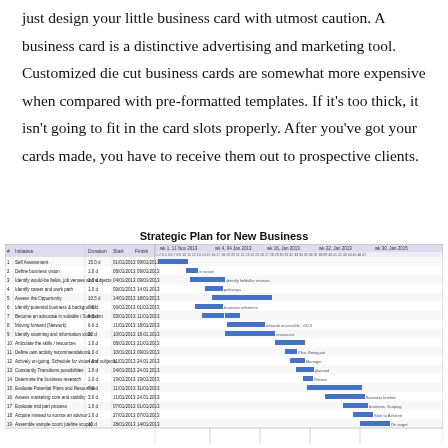just design your little business card with utmost caution. A business card is a distinctive advertising and marketing tool. Customized die cut business cards are somewhat more expensive when compared with pre-formatted templates. If it's too thick, it isn't going to fit in the card slots properly. After you've got your cards made, you have to receive them out to prospective clients.
[Figure (other): Gantt chart titled 'Strategic Plan for New Business' showing project tasks with durations, start dates, end dates, and timeline bars spanning multiple weeks in 2013-2014.]